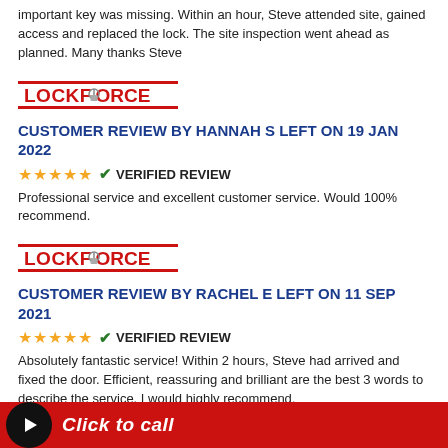important key was missing. Within an hour, Steve attended site, gained access and replaced the lock. The site inspection went ahead as planned. Many thanks Steve
[Figure (logo): Lockforce logo with padlock icon, red text on white background]
CUSTOMER REVIEW BY HANNAH S LEFT ON 19 JAN 2022
★★★★★ ✓ VERIFIED REVIEW
Professional service and excellent customer service. Would 100% recommend.
[Figure (logo): Lockforce logo with padlock icon, red text on white background]
CUSTOMER REVIEW BY RACHEL E LEFT ON 11 SEP 2021
★★★★★ ✓ VERIFIED REVIEW
Absolutely fantastic service! Within 2 hours, Steve had arrived and fixed the door. Efficient, reassuring and brilliant are the best 3 words to describe the service. I would highly recommend.
Click to call